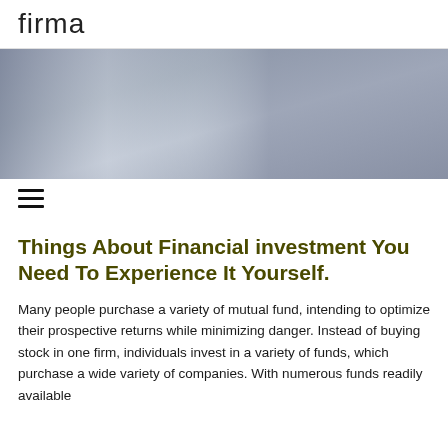firma
[Figure (photo): Gradient blue-grey hero banner image]
[Figure (other): Hamburger menu icon with three horizontal lines]
Things About Financial investment You Need To Experience It Yourself.
Many people purchase a variety of mutual fund, intending to optimize their prospective returns while minimizing danger. Instead of buying stock in one firm, individuals invest in a variety of funds, which purchase a wide variety of companies. With numerous funds readily available